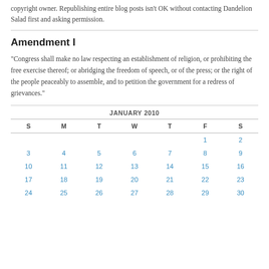copyright owner. Republishing entire blog posts isn't OK without contacting Dandelion Salad first and asking permission.
Amendment I
"Congress shall make no law respecting an establishment of religion, or prohibiting the free exercise thereof; or abridging the freedom of speech, or of the press; or the right of the people peaceably to assemble, and to petition the government for a redress of grievances."
| S | M | T | W | T | F | S |
| --- | --- | --- | --- | --- | --- | --- |
|  |  |  |  |  | 1 | 2 |
| 3 | 4 | 5 | 6 | 7 | 8 | 9 |
| 10 | 11 | 12 | 13 | 14 | 15 | 16 |
| 17 | 18 | 19 | 20 | 21 | 22 | 23 |
| 24 | 25 | 26 | 27 | 28 | 29 | 30 |